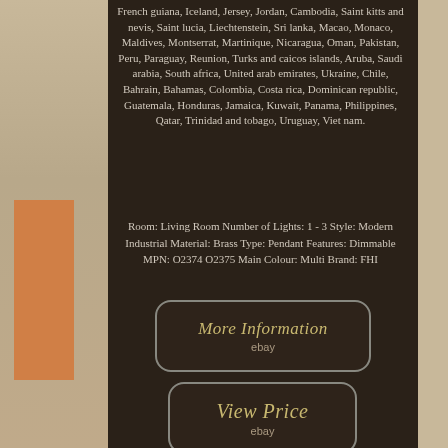French guiana, Iceland, Jersey, Jordan, Cambodia, Saint kitts and nevis, Saint lucia, Liechtenstein, Sri lanka, Macao, Monaco, Maldives, Montserrat, Martinique, Nicaragua, Oman, Pakistan, Peru, Paraguay, Reunion, Turks and caicos islands, Aruba, Saudi arabia, South africa, United arab emirates, Ukraine, Chile, Bahrain, Bahamas, Colombia, Costa rica, Dominican republic, Guatemala, Honduras, Jamaica, Kuwait, Panama, Philippines, Qatar, Trinidad and tobago, Uruguay, Viet nam.
Room: Living Room Number of Lights: 1 - 3 Style: Modern Industrial Material: Brass Type: Pendant Features: Dimmable MPN: O2374 O2375 Main Colour: Multi Brand: FHI
[Figure (other): Button with rounded rectangle border and text 'More Information' with 'ebay' below it]
[Figure (other): Button with rounded rectangle border and text 'View Price' with 'ebay' below it]
[Figure (other): Facebook Like button]
[Figure (other): Social sharing icons row: Facebook, Twitter, Pinterest, Email]